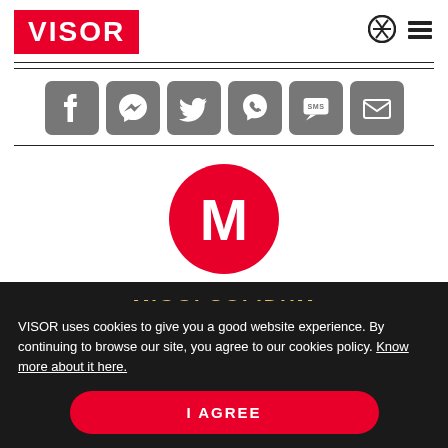[Figure (logo): VISOR logo — white bold text on red rectangle background]
[Figure (infographic): Row of 6 gray social share buttons: Facebook, Messenger, Twitter, Viber, SMS, Email]
[Figure (illustration): Red circle with white bold letter M — author avatar for Miggi Solidum]
MIGGI SOLIDUM
Miggi is an editorial aide at VISOR. Professionally speaking, he is a software engineering dude who happens to like cars a lot. And as an automotive enthusiast, he wants a place to freely share his motoring thoughts with fellow petrolheads.
VISOR uses cookies to give you a good website experience. By continuing to browse our site, you agree to our cookies policy. Know more about it here.
I AGREE